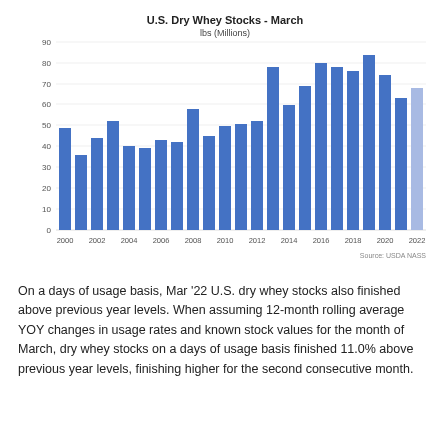[Figure (bar-chart): U.S. Dry Whey Stocks - March]
On a days of usage basis, Mar '22 U.S. dry whey stocks also finished above previous year levels. When assuming 12-month rolling average YOY changes in usage rates and known stock values for the month of March, dry whey stocks on a days of usage basis finished 11.0% above previous year levels, finishing higher for the second consecutive month.